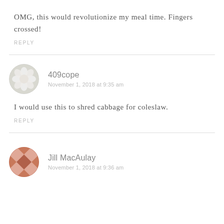OMG, this would revolutionize my meal time. Fingers crossed!
REPLY
409cope
November 1, 2018 at 9:35 am
I would use this to shred cabbage for coleslaw.
REPLY
Jill MacAulay
November 1, 2018 at 9:36 am